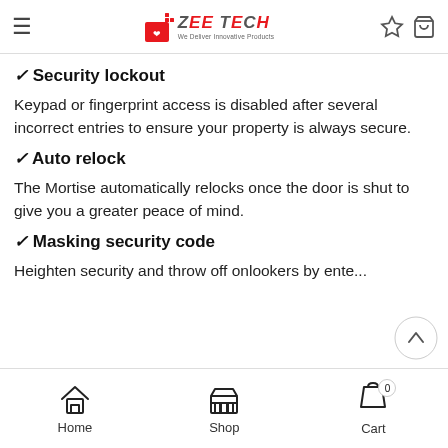Zee Tech - We Deliver Innovative Products
✔ Security lockout
Keypad or fingerprint access is disabled after several incorrect entries to ensure your property is always secure.
✔ Auto relock
The Mortise automatically relocks once the door is shut to give you a greater peace of mind.
✔ Masking security code
Heighten security and throw off onlookers by ente...
Home  Shop  Cart 0